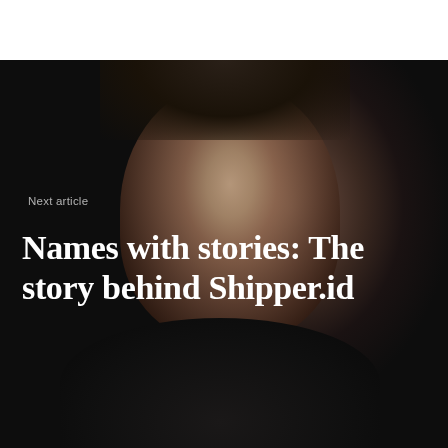[Figure (photo): Dark portrait photo of a smiling young Asian woman with dark hair pulled back, wearing a black top, photographed against a very dark background. The lighting is dramatic, illuminating mainly her face and upper body.]
Next article
Names with stories: The story behind Shipper.id